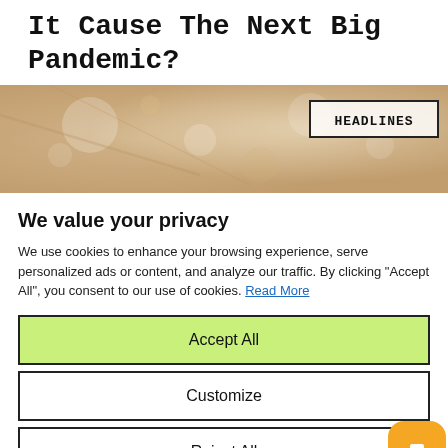It Cause The Next Big Pandemic?
[Figure (photo): Blurred bokeh background image in warm beige/brown tones with a 'HEADLINES' label box overlay in the top right.]
We value your privacy
We use cookies to enhance your browsing experience, serve personalized ads or content, and analyze our traffic. By clicking "Accept All", you consent to our use of cookies. Read More
Accept All
Customize
Reject All